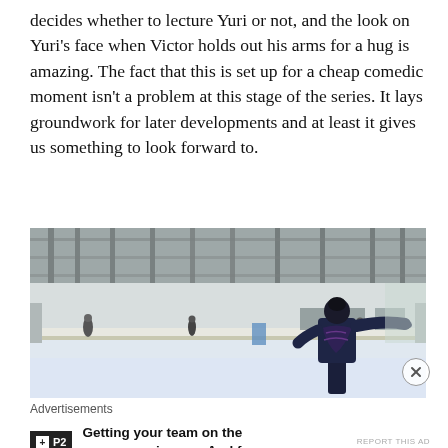decides whether to lecture Yuri or not, and the look on Yuri's face when Victor holds out his arms for a hug is amazing. The fact that this is set up for a cheap comedic moment isn't a problem at this stage of the series. It lays groundwork for later developments and at least it gives us something to look forward to.
[Figure (photo): An anime figure skating scene showing a skater in a dark blue costume with arms outstretched, viewed from behind, on an ice rink. Other small figures visible in the background near the rink barrier.]
Advertisements
Getting your team on the same page is easy. And free.